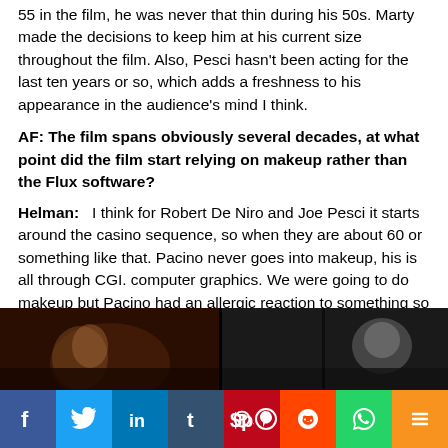55 in the film, he was never that thin during his 50s. Marty made the decisions to keep him at his current size throughout the film. Also, Pesci hasn't been acting for the last ten years or so, which adds a freshness to his appearance in the audience's mind I think.
AF: The film spans obviously several decades, at what point did the film start relying on makeup rather than the Flux software?
Helman: I think for Robert De Niro and Joe Pesci it starts around the casino sequence, so when they are about 60 or something like that. Pacino never goes into makeup, his is all through CGI. computer graphics. We were going to do makeup but Pacino had an allergic reaction to something so he couldn't do makeup.
[Figure (photo): Dark film still showing two scenes side by side]
[Figure (infographic): Social media sharing bar with Facebook, Twitter, LinkedIn, Tumblr, Pinterest, Reddit, WhatsApp, and More buttons]